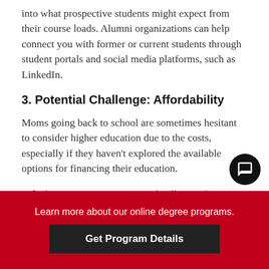into what prospective students might expect from their course loads. Alumni organizations can help connect you with former or current students through student portals and social media platforms, such as LinkedIn.
3. Potential Challenge: Affordability
Moms going back to school are sometimes hesitant to consider higher education due to the costs, especially if they haven't explored the available options for financing their education.
Solution: Many universities and colleges often provide guidance to students on an individual basis. For instance, you can speak with an EA, who may be able to
Learn more about our online degree programs.
Get Program Details